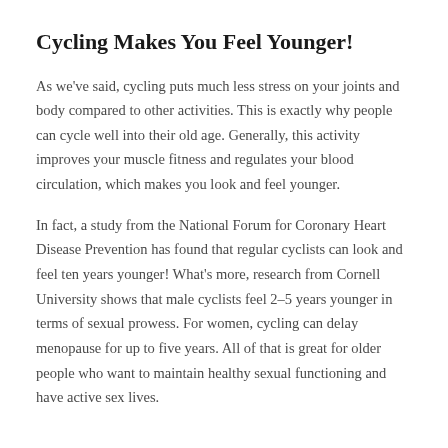Cycling Makes You Feel Younger!
As we've said, cycling puts much less stress on your joints and body compared to other activities. This is exactly why people can cycle well into their old age. Generally, this activity improves your muscle fitness and regulates your blood circulation, which makes you look and feel younger.
In fact, a study from the National Forum for Coronary Heart Disease Prevention has found that regular cyclists can look and feel ten years younger! What's more, research from Cornell University shows that male cyclists feel 2–5 years younger in terms of sexual prowess. For women, cycling can delay menopause for up to five years. All of that is great for older people who want to maintain healthy sexual functioning and have active sex lives.